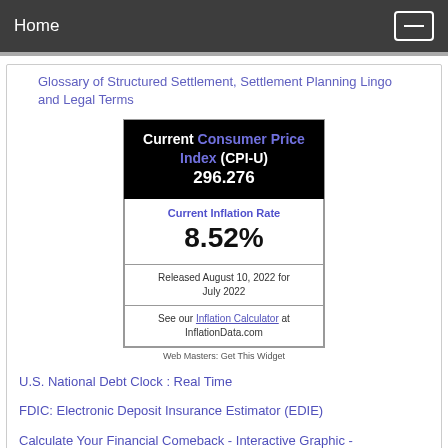Home
Glossary of Structured Settlement, Settlement Planning Lingo and Legal Terms
[Figure (infographic): CPI widget showing Current Consumer Price Index (CPI-U) 296.276, Current Inflation Rate 8.52%, Released August 10, 2022 for July 2022, with link to Inflation Calculator at InflationData.com]
Web Masters: Get This Widget
U.S. National Debt Clock : Real Time
FDIC: Electronic Deposit Insurance Estimator (EDIE)
Calculate Your Financial Comeback - Interactive Graphic - NYTimes.com